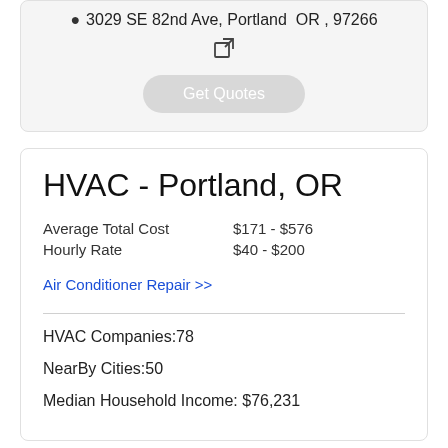3029 SE 82nd Ave, Portland OR , 97266
Get Quotes
HVAC - Portland, OR
Average Total Cost $171 - $576
Hourly Rate $40 - $200
Air Conditioner Repair >>
HVAC Companies:78
NearBy Cities:50
Median Household Income: $76,231